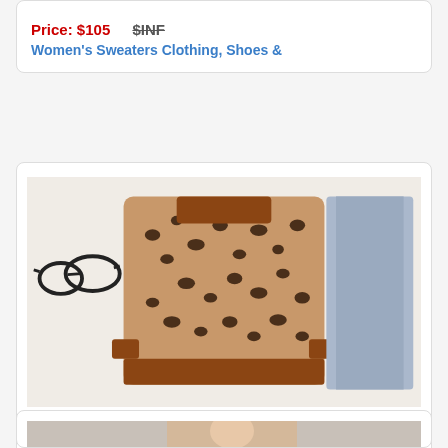Price: $105   $INF
Women's Sweaters Clothing, Shoes &
[Figure (photo): Leopard print polo-collar knit sweater laid flat on white bedding, with glasses and jeans styled beside it]
Price: $64.99   $INF
Best Discount #65a7 - Leopard Fashion Knitting
[Figure (photo): Partial view of another product photo at the bottom of the page]